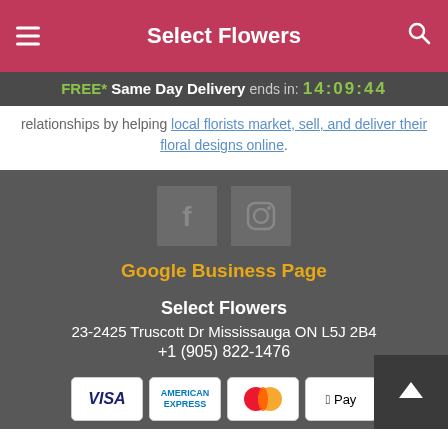Select Flowers
FREE* Same Day Delivery ends in: 14:09:44
relationships by helping local florists market, sell, and deliver their floral designs online.
[Figure (screenshot): Social media icons: Facebook and Instagram, displayed as square gray icon buttons]
Google Business Page
Select Flowers
23-2425 Truscott Dr Mississauga ON L5J 2B4
+1 (905) 822-1476
[Figure (infographic): Payment method icons: VISA, American Express, MasterCard, Apple Pay]